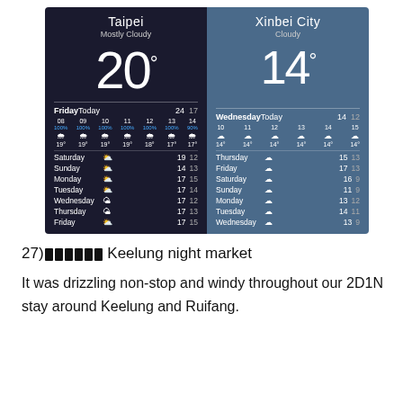[Figure (screenshot): Weather app screenshot showing two side-by-side panels: Taipei (Mostly Cloudy, 20°) with hourly and weekly forecast, and Xinbei City (Cloudy, 14°) with weekly forecast.]
27) [redacted] Keelung night market
It was drizzling non-stop and windy throughout our 2D1N stay around Keelung and Ruifang.